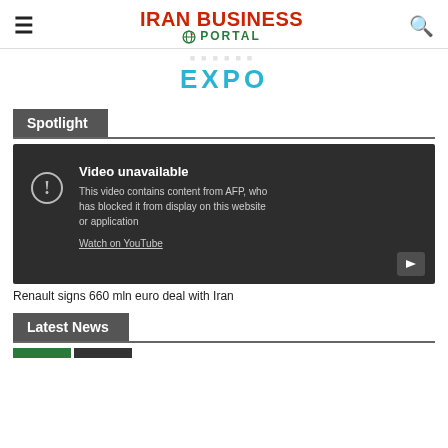IRAN BUSINESS PORTAL
[Figure (logo): Iran Business Portal logo with globe icon]
[Figure (illustration): EXPO banner text in cyan/teal color with partially visible logo above]
Spotlight
[Figure (screenshot): Embedded YouTube video player showing 'Video unavailable' message. Text: 'This video contains content from AFP, who has blocked it from display on this website or application. Watch on YouTube.']
Renault signs 660 mln euro deal with Iran
Latest News